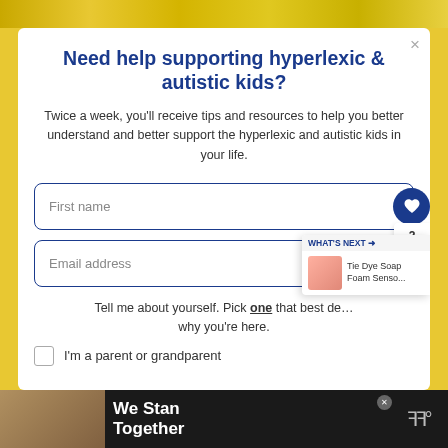[Figure (screenshot): Top decorative strip with yellow/gold background pattern]
Need help supporting hyperlexic & autistic kids?
Twice a week, you'll receive tips and resources to help you better understand and better support the hyperlexic and autistic kids in your life.
First name
Email address
Tell me about yourself. Pick one that best describes why you're here.
I'm a parent or grandparent
[Figure (infographic): WHAT'S NEXT arrow label with Tie Dye Soap Foam Senso... thumbnail and text]
[Figure (infographic): Bottom advertisement bar: We Stand Together with group photo and logo]